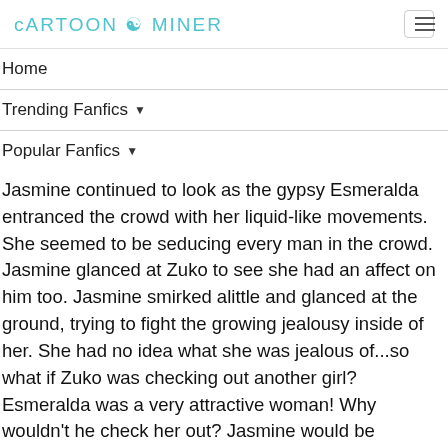CARTOON MINER
Home
Trending Fanfics ▾
Popular Fanfics ▾
Jasmine continued to look as the gypsy Esmeralda entranced the crowd with her liquid-like movements. She seemed to be seducing every man in the crowd. Jasmine glanced at Zuko to see she had an affect on him too. Jasmine smirked alittle and glanced at the ground, trying to fight the growing jealousy inside of her. She had no idea what she was jealous of...so what if Zuko was checking out another girl? Esmeralda was a very attractive woman! Why wouldn't he check her out? Jasmine would be concerned if he didn't check her out! Then that'll mean there really was something wrong with Prince Zuko. « Enjoying the show? » she asked slyly, glancing back up at